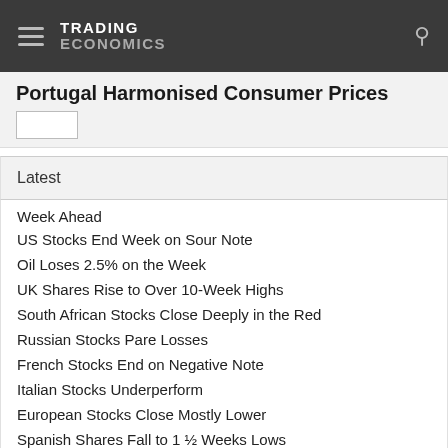TRADING ECONOMICS
Portugal Harmonised Consumer Prices
Latest
Week Ahead
US Stocks End Week on Sour Note
Oil Loses 2.5% on the Week
UK Shares Rise to Over 10-Week Highs
South African Stocks Close Deeply in the Red
Russian Stocks Pare Losses
French Stocks End on Negative Note
Italian Stocks Underperform
European Stocks Close Mostly Lower
Spanish Shares Fall to 1 ½ Weeks Lows